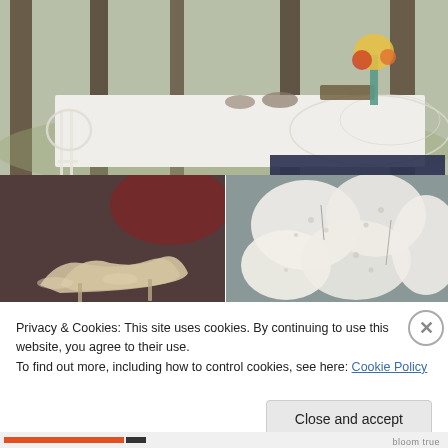[Figure (photo): Outdoor wedding reception table set in a forest with white lace tablecloth, floral arrangements, and ornate white metal chair]
[Figure (photo): Close-up of beige/nude bridal heels on a dark background]
[Figure (photo): Close-up of white lace fabric with floral pattern]
Privacy & Cookies: This site uses cookies. By continuing to use this website, you agree to their use.
To find out more, including how to control cookies, see here: Cookie Policy
Close and accept